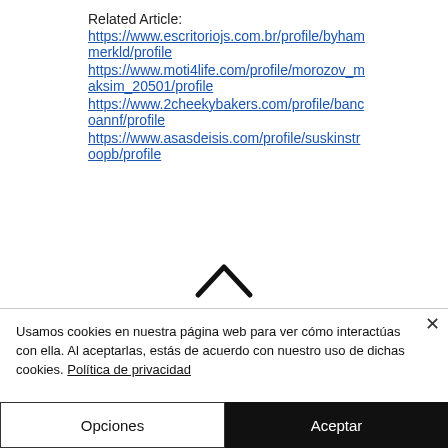Related Article: https://www.escritoriojs.com.br/profile/byhammerkld/profile https://www.moti4life.com/profile/morozov_maksim_20501/profile https://www.2cheekybakers.com/profile/bancoannf/profile https://www.asasdeisis.com/profile/suskinstroop b/profile
[Figure (illustration): Upward pointing chevron / caret symbol centered on the page]
Usamos cookies en nuestra página web para ver cómo interactúas con ella. Al aceptarlas, estás de acuerdo con nuestro uso de dichas cookies. Política de privacidad
Opciones
Aceptar